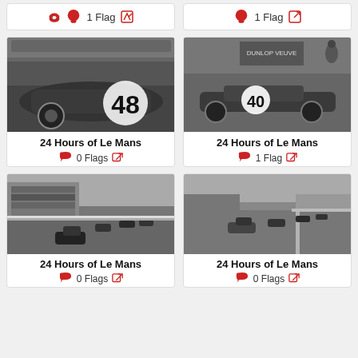1 Flag
1 Flag
[Figure (photo): Black and white photo of a racing car with number 48 at Le Mans]
24 Hours of Le Mans
0 Flags
[Figure (photo): Black and white photo of a racing car with number 40 at Le Mans]
24 Hours of Le Mans
1 Flag
[Figure (photo): Black and white photo of multiple racing cars on Le Mans circuit with grandstands]
24 Hours of Le Mans
0 Flags
[Figure (photo): Black and white photo of racing cars on Le Mans straight]
24 Hours of Le Mans
0 Flags